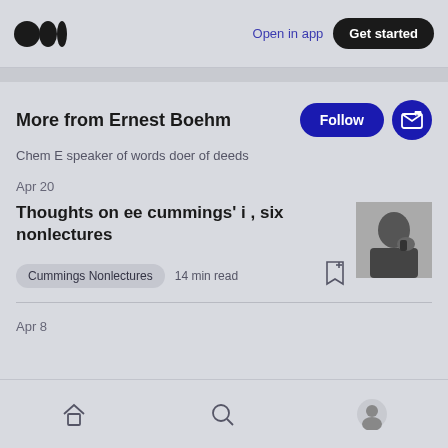Open in app | Get started
More from Ernest Boehm
Chem E speaker of words doer of deeds
Apr 20
Thoughts on ee cummings' i , six nonlectures
Cummings Nonlectures   14 min read
[Figure (photo): Black and white thumbnail photo of a person]
Apr 8
Home Search Profile navigation icons